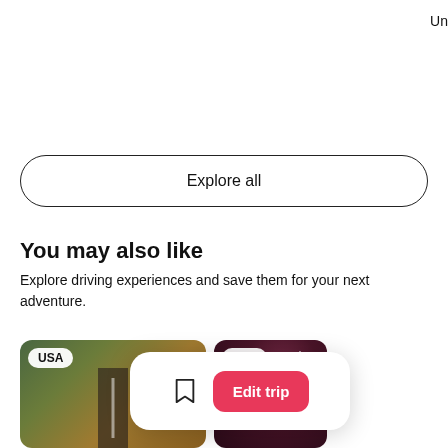Un
Explore all
You may also like
Explore driving experiences and save them for your next adventure.
[Figure (screenshot): Card showing aerial view of a road through forest, labelled USA]
[Figure (screenshot): Card showing night sky with stars, labelled USA]
[Figure (other): Popup overlay with bookmark icon and Edit trip button in pink/red]